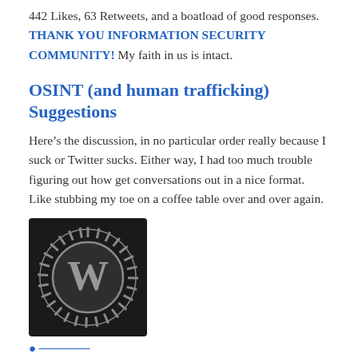442 Likes, 63 Retweets, and a boatload of good responses. THANK YOU INFORMATION SECURITY COMMUNITY! My faith in us is intact.
OSINT (and human trafficking) Suggestions
Here’s the discussion, in no particular order really because I suck or Twitter sucks. Either way, I had too much trouble figuring out how get conversations out in a nice format. Like stubbing my toe on a coffee table over and over again.
[Figure (logo): WordPress logo — dark circular background with a stylized W letter inside a sun-burst gear circle, grayscale]
[partial link/text cut off at bottom of page]